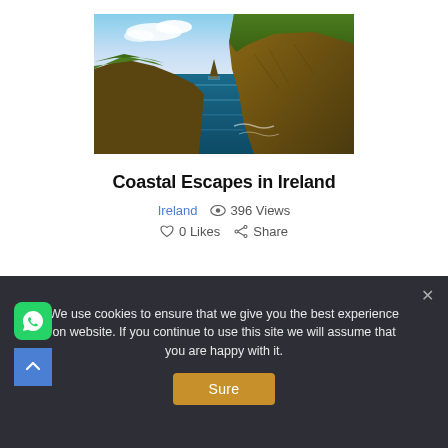[Figure (photo): Aerial/coastal view of steep cliffs overlooking dark blue ocean water, with green vegetation on top — Cliffs of Moher style, Ireland]
Coastal Escapes in Ireland
Ireland  ◉  396 Views
♡  0 Likes   ⟨  Share
[Figure (photo): Partial second photo visible at bottom edge]
We use cookies to ensure that we give you the best experience on website. If you continue to use this site we will assume that you are happy with it.